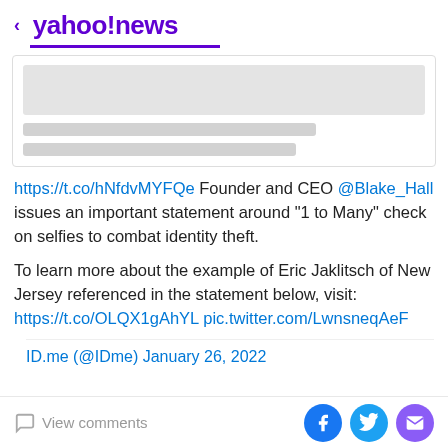< yahoo!news
[Figure (screenshot): Blurred/placeholder image card with two grey bars below]
https://t.co/hNfdvMYFQe Founder and CEO @Blake_Hall issues an important statement around "1 to Many" check on selfies to combat identity theft.
To learn more about the example of Eric Jaklitsch of New Jersey referenced in the statement below, visit: https://t.co/OLQX1gAhYL pic.twitter.com/LwnsneqAeF
ID.me (@IDme) January 26, 2022
View comments